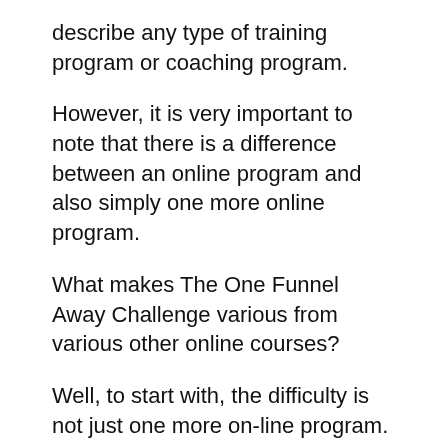describe any type of training program or coaching program.
However, it is very important to note that there is a difference between an online program and also simply one more online program.
What makes The One Funnel Away Challenge various from various other online courses?
Well, to start with, the difficulty is not just one more on-line program.
It is an online marketing difficulty that is created to assist individuals discover how to develop their very own lucrative online...